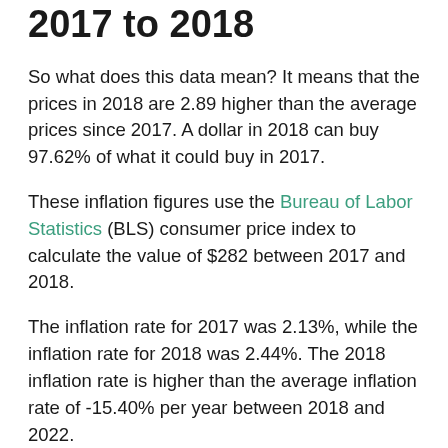2017 to 2018
So what does this data mean? It means that the prices in 2018 are 2.89 higher than the average prices since 2017. A dollar in 2018 can buy 97.62% of what it could buy in 2017.
These inflation figures use the Bureau of Labor Statistics (BLS) consumer price index to calculate the value of $282 between 2017 and 2018.
The inflation rate for 2017 was 2.13%, while the inflation rate for 2018 was 2.44%. The 2018 inflation rate is higher than the average inflation rate of -15.40% per year between 2018 and 2022.
USD Inflation Since 1913